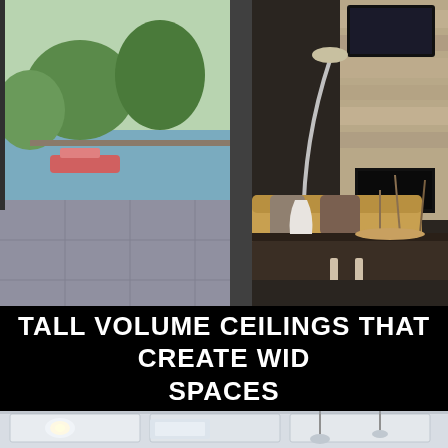[Figure (photo): Interior photo of a modern luxury living room with large floor-to-ceiling windows overlooking a waterway, a tan leather sofa with decorative pillows, a dark wood credenza with white vase decor, a wall-mounted flat-screen TV above a stone fireplace surround, and dark tile flooring. Natural light floods in through the glass panels showing greenery and water outside.]
TALL VOLUME CEILINGS THAT CREATE WIDE SPACES
[Figure (photo): Close-up interior photo of a modern white ceiling with recessed lighting panels and pendant light fixtures hanging down, showing tall volume ceiling construction details.]